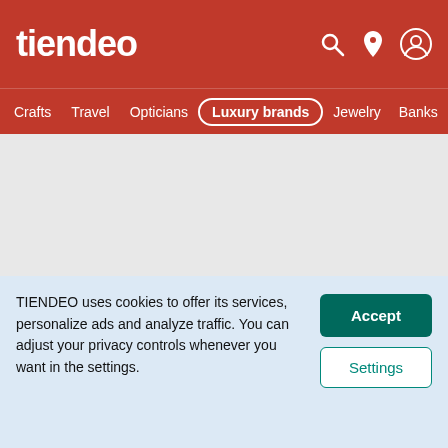tiendeo
Crafts
Travel
Opticians
Luxury brands
Jewelry
Banks
Chanel Store | 4755 TOWN CROSSINGS DRIVE,, Jacksonville FL
CHANEL
Create alert
More stores >
TIENDEO uses cookies to offer its services, personalize ads and analyze traffic. You can adjust your privacy controls whenever you want in the settings.
Accept
Settings